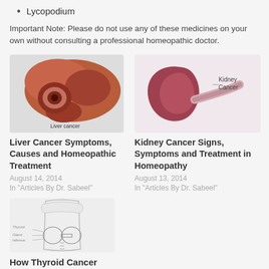Lycopodium
Important Note: Please do not use any of these medicines on your own without consulting a professional homeopathic doctor.
[Figure (illustration): Medical illustration of liver cancer showing a cross-section of the liver with a tumor, labeled 'Liver cancer']
Liver Cancer Symptoms, Causes and Homeopathic Treatment
August 14, 2014
In "Articles By Dr. Sabeel"
[Figure (illustration): Medical illustration of a kidney with a label 'Kidney Cancer']
Kidney Cancer Signs, Symptoms and Treatment in Homeopathy
August 13, 2014
In "Articles By Dr. Sabeel"
[Figure (illustration): Medical line drawing of the thyroid gland and neck anatomy]
How Thyroid Cancer